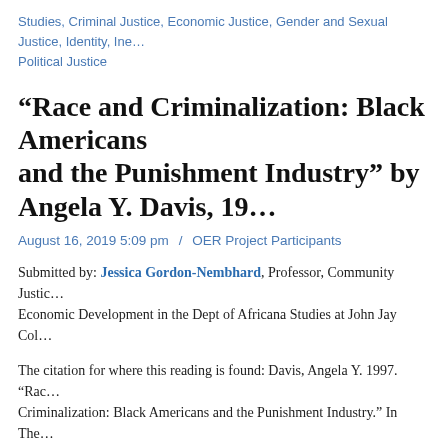Studies, Criminal Justice, Economic Justice, Gender and Sexual Justice, Identity, Ine… Political Justice
“Race and Criminalization: Black Americans and the Punishment Industry” by Angela Y. Davis, 19…
August 16, 2019 5:09 pm  /  OER Project Participants
Submitted by: Jessica Gordon-Nembhard, Professor, Community Justic… Economic Development in the Dept of Africana Studies at John Jay Col…
The citation for where this reading is found: Davis, Angela Y. 1997. “Rac… Criminalization: Black Americans and the Punishment Industry.” In The… Built, edited by Wahneema Lubiano, pp. 264-279. New York: Pantheon … not available digitally. To check out the book, go to the John Jay Library… .H68 1997
“The House That Race Built is the response by some of this country’s m… intellectuals to the crisis of democracy represented by the recent…